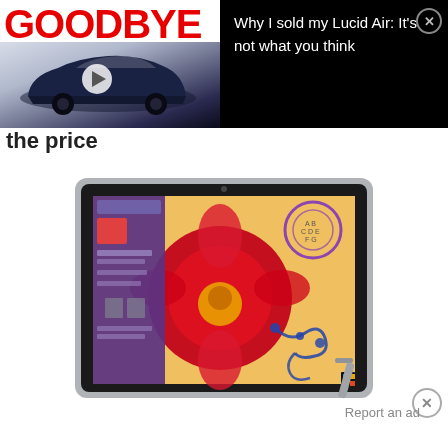[Figure (screenshot): Advertisement banner: left side shows 'GOODBYE' in red bold text over a dark blue car image with play button; right side on black background shows text 'Why I sold my Lucid Air: It's not what you think' with close X button]
Why I sold my Lucid Air: It's not what you think
the price
[Figure (photo): Microsoft Surface tablet shown at an angle, displaying a colorful biology/science app with a red cell/flower image and a purple circular UI element on the right]
Report an ad